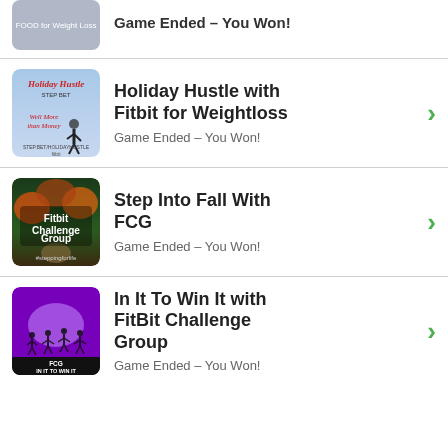Game Ended - You Won!
Holiday Hustle with Fitbit for Weightloss
Game Ended - You Won!
Step Into Fall With FCG
Game Ended - You Won!
In It To Win It with FitBit Challenge Group
Game Ended - You Won!